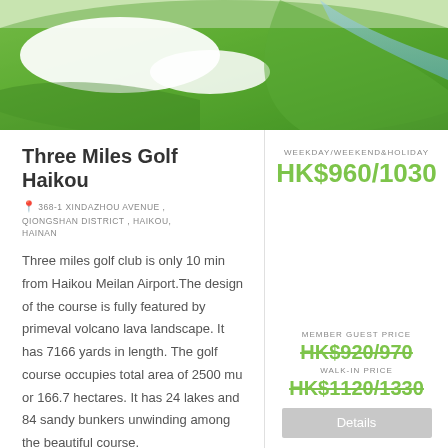[Figure (photo): Aerial view of a golf course showing green fairways, white sand bunkers, and a water feature]
Three Miles Golf Haikou
368-1 XINDAZHOU AVENUE , QIONGSHAN DISTRICT , HAIKOU, HAINAN
Three miles golf club is only 10 min from Haikou Meilan Airport.The design of the course is fully featured by primeval volcano lava landscape. It has 7166 yards in length. The golf course occupies total area of 2500 mu or 166.7 hectares. It has 24 lakes and 84 sandy bunkers unwinding among the beautiful course.
WEEKDAY/WEEKEND&HOLIDAY
HK$960/1030
MEMBER GUEST PRICE
HK$920/970
WALK-IN PRICE
HK$1120/1330
Details